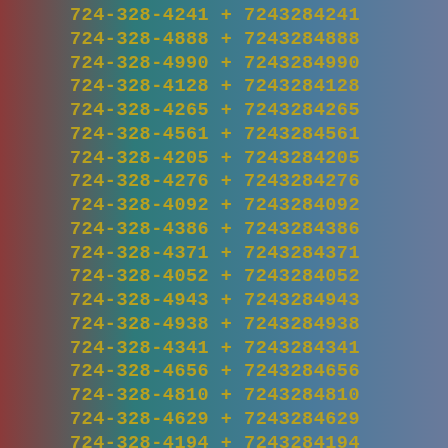724-328-4241 + 7243284241
724-328-4888 + 7243284888
724-328-4990 + 7243284990
724-328-4128 + 7243284128
724-328-4265 + 7243284265
724-328-4561 + 7243284561
724-328-4205 + 7243284205
724-328-4276 + 7243284276
724-328-4092 + 7243284092
724-328-4386 + 7243284386
724-328-4371 + 7243284371
724-328-4052 + 7243284052
724-328-4943 + 7243284943
724-328-4938 + 7243284938
724-328-4341 + 7243284341
724-328-4656 + 7243284656
724-328-4810 + 7243284810
724-328-4629 + 7243284629
724-328-4194 + 7243284194
724-328-4405 + 7243284405
724-328-4171 + 7243284171
724-328-4611 + 7243284611
724-328-4296 + 7243284296